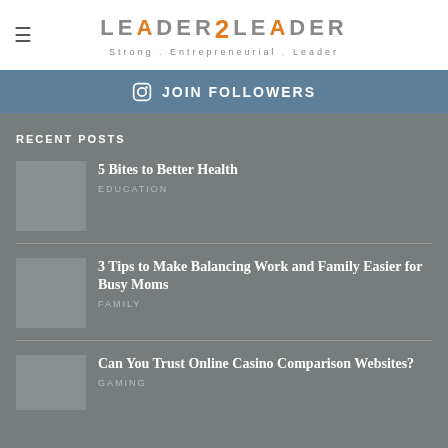LEADER2LEADER — Strong.Entrepreneurial.Leader
☰ JOIN FOLLOWERS
RECENT POSTS
5 Bites to Better Health — EDUCATION
3 Tips to Make Balancing Work and Family Easier for Busy Moms — FAMILY
Can You Trust Online Casino Comparison Websites? — GAMING